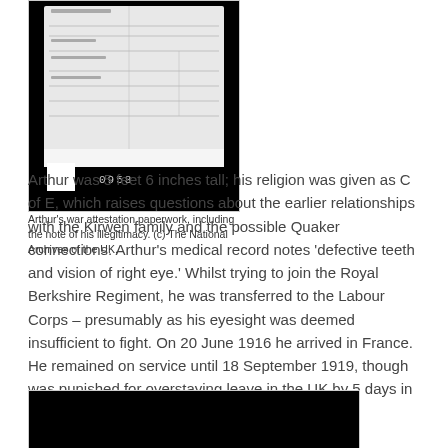[Figure (photo): Scanned archival document — Arthur's war attestation paperwork showing form fields and handwriting, with a white square and number 0958 visible at the bottom, on a black background.]
Arthur's war attestation paperwork, including the note of his illegitimacy. (c) The National Archives of the UK.
Arthur was 5 feet 6 inches tall; his religion was given as C of E, which raises questions about the earlier relationships with the Kirwen family and the possible Quaker connections. Arthur's medical record notes 'defective teeth and vision of right eye.' Whilst trying to join the Royal Berkshire Regiment, he was transferred to the Labour Corps – presumably as his eyesight was deemed insufficient to fight. On 20 June 1916 he arrived in France. He remained on service until 18 September 1919, though was punished for overstaying leave in the UK by 5 days in August 1919.
[Figure (photo): Second archival image — black rectangle, partial view at bottom of page.]